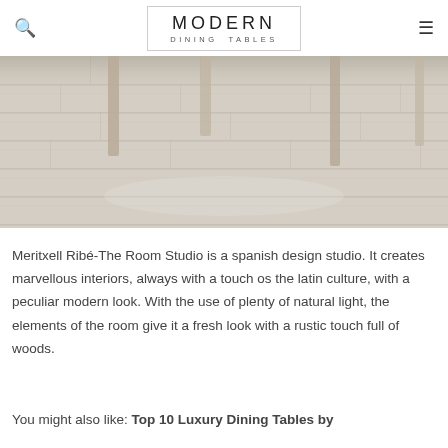MODERN DINING TABLES
[Figure (photo): Close-up photo of a light grey wood-plank floor with table and chair legs visible at the top]
Meritxell Ribé-The Room Studio is a spanish design studio. It creates marvellous interiors, always with a touch os the latin culture, with a peculiar modern look. With the use of plenty of natural light, the elements of the room give it a fresh look with a rustic touch full of woods.
You might also like: Top 10 Luxury Dining Tables by